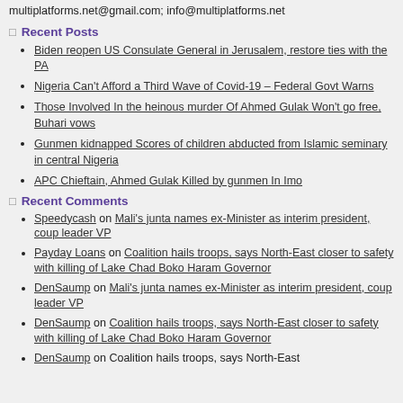multiplatforms.net@gmail.com; info@multiplatforms.net
Recent Posts
Biden reopen US Consulate General in Jerusalem, restore ties with the PA
Nigeria Can't Afford a Third Wave of Covid-19 – Federal Govt Warns
Those Involved In the heinous murder Of Ahmed Gulak Won't go free, Buhari vows
Gunmen kidnapped Scores of children abducted from Islamic seminary in central Nigeria
APC Chieftain, Ahmed Gulak Killed by gunmen In Imo
Recent Comments
Speedycash on Mali's junta names ex-Minister as interim president, coup leader VP
Payday Loans on Coalition hails troops, says North-East closer to safety with killing of Lake Chad Boko Haram Governor
DenSaump on Mali's junta names ex-Minister as interim president, coup leader VP
DenSaump on Coalition hails troops, says North-East closer to safety with killing of Lake Chad Boko Haram Governor
DenSaump on Coalition hails troops, says North-East